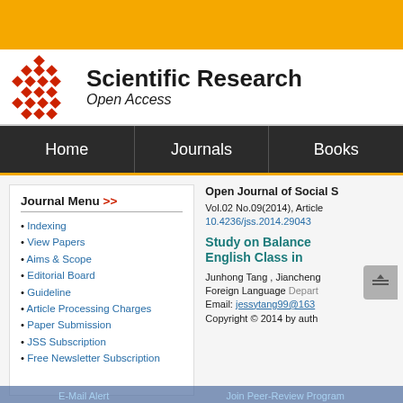[Figure (logo): Scientific Research Open Access logo with red diamond pattern grid and text 'Scientific Research Open Access']
Home | Journals | Books
Journal Menu >>
Indexing
View Papers
Aims & Scope
Editorial Board
Guideline
Article Processing Charges
Paper Submission
JSS Subscription
Free Newsletter Subscription
Open Journal of Social S
Vol.02 No.09(2014), Article 10.4236/jss.2014.29043
Study on Balance English Class in
Junhong Tang , Jiancheng
Foreign Language Depart
Email: jessytang99@163
Copyright © 2014 by auth
E-Mail Alert    Join Peer-Review Program